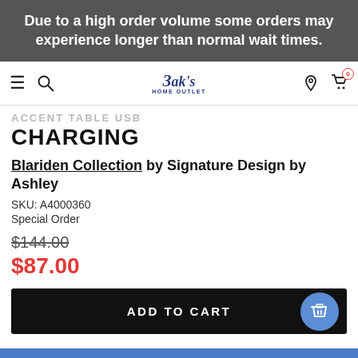Due to a high order volume some orders may experience longer than normal wait times.
[Figure (screenshot): Zak's Home Outlet website navigation bar with hamburger menu, search icon, logo, location pin, and shopping cart icons]
ACCENT TABLE USB CHARGING
Blariden Collection by Signature Design by Ashley
SKU: A4000360
Special Order
$144.00
$87.00
ADD TO CART